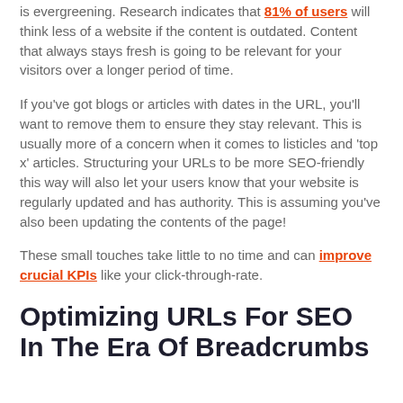is evergreening. Research indicates that 81% of users will think less of a website if the content is outdated. Content that always stays fresh is going to be relevant for your visitors over a longer period of time.
If you've got blogs or articles with dates in the URL, you'll want to remove them to ensure they stay relevant. This is usually more of a concern when it comes to listicles and 'top x' articles. Structuring your URLs to be more SEO-friendly this way will also let your users know that your website is regularly updated and has authority. This is assuming you've also been updating the contents of the page!
These small touches take little to no time and can improve crucial KPIs like your click-through-rate.
Optimizing URLs For SEO In The Era Of Breadcrumbs